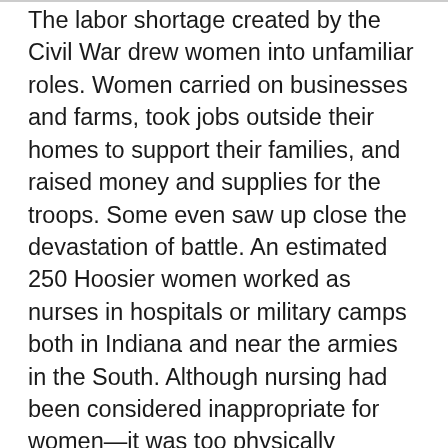The labor shortage created by the Civil War drew women into unfamiliar roles. Women carried on businesses and farms, took jobs outside their homes to support their families, and raised money and supplies for the troops. Some even saw up close the devastation of battle. An estimated 250 Hoosier women worked as nurses in hospitals or military camps both in Indiana and near the armies in the South. Although nursing had been considered inappropriate for women—it was too physically demanding and exposed genteel women to the naked bodies of unfamiliar men—it could be seen as an